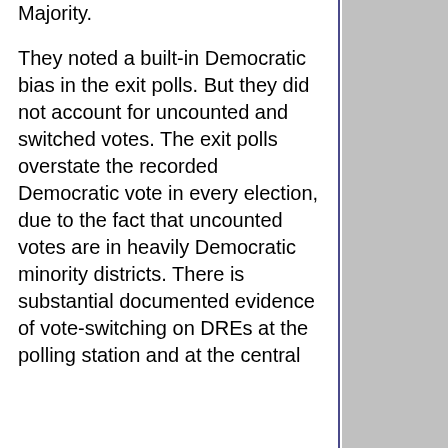Majority.
They noted a built-in Democratic bias in the exit polls. But they did not account for uncounted and switched votes. The exit polls overstate the recorded Democratic vote in every election, due to the fact that uncounted votes are in heavily Democratic minority districts. There is substantial documented evidence of vote-switching on DREs at the polling station and at the central